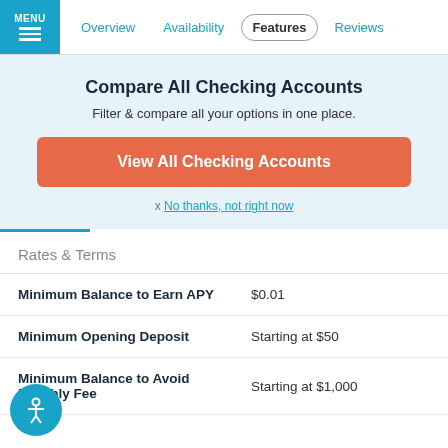MENU | Overview | Availability | Features | Reviews
Compare All Checking Accounts
Filter & compare all your options in one place.
View All Checking Accounts
x No thanks, not right now
Rates & Terms
| Feature | Value |
| --- | --- |
| Minimum Balance to Earn APY | $0.01 |
| Minimum Opening Deposit | Starting at $50 |
| Minimum Balance to Avoid Monthly Fee | Starting at $1,000 |